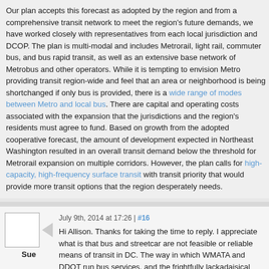Our plan accepts this forecast as adopted by the region and from a comprehensive transit network to meet the region's future demands, we have worked closely with representatives from each local jurisdiction and DCOP. The plan is multi-modal and includes Metrorail, light rail, streetcar, commuter bus, and bus rapid transit, as well as an extensive base network of Metrobus and other operators. While it is tempting to envision Metro providing transit region-wide and feel that an area or neighborhood is being shortchanged if only bus is provided, there is a wide range of modes between Metro and local bus. There are capital and operating costs associated with the expansion that the jurisdictions and the region's residents must agree to fund. Based on growth forecasting from the adopted cooperative forecast, the amount of development expected in Northeast Washington resulted in an overall transit demand below the threshold for Metrorail expansion on multiple corridors. However, the plan calls for high-capacity, high-frequency surface transit with transit priority that would provide more transit options that the region desperately needs.
July 9th, 2014 at 17:26 | #16
Hi Allison. Thanks for taking the time to reply. I appreciate what you say but the reality is that bus and streetcar are not feasible or reliable means of transit in DC. The way in which WMATA and DDOT run bus services, and the frightfully lackadaisical planning of the entire streetcar project, ultimately leave the average DC resident to conclude that Metro trains are indeed the only credible/ reliable part of any so-called "multi-modal" network. The multi-modal transport concept is a worthy ideal for DC – not presently a reality. I appreciate that you personally are not responsible for DDOT ineptitude – but it's important that we all address a point...